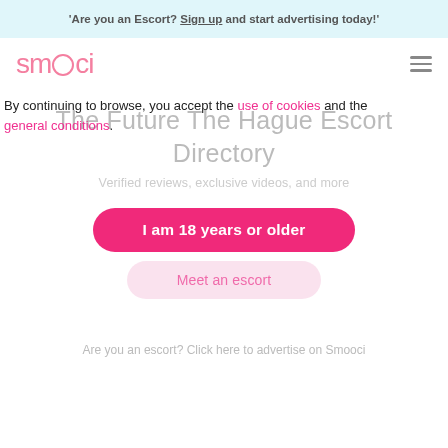Are you an Escort? Sign up and start advertising today!
[Figure (logo): Smooci logo in pink text]
The Future The Hague Escort Directory
By continuing to browse, you accept the use of cookies and the general conditions.
Verified reviews, exclusive videos, and more
I am 18 years or older
Meet an escort
Are you an escort? Click here to advertise on Smooci